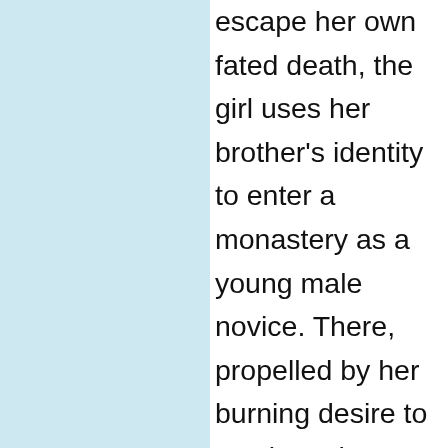escape her own fated death, the girl uses her brother's identity to enter a monastery as a young male novice. There, propelled by her burning desire to survive, Zhu learns she is capable of doing whatever it takes, no matter how callous, to stay hidden from her fate.

After her sanctuary is destroyed for supporting the rebellion against Mongol rule, Zhu takes the chance to claim another